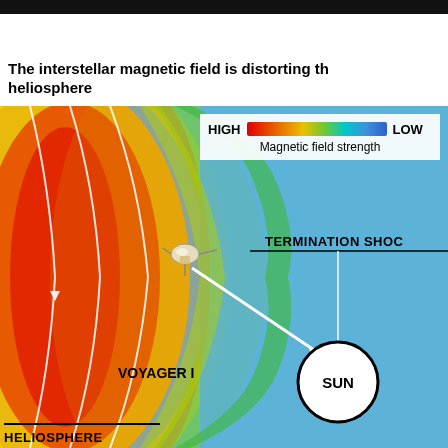for very little.
INTO THE UNKNOWN
The interstellar magnetic field is distorting the heliosphere
[Figure (infographic): Scientific diagram showing the heliosphere and its interaction with the interstellar magnetic field. The image uses a false-color representation showing magnetic field strength (red=high, blue=low). Voyager 1 spacecraft is labeled with an arrow pointing to its position near the boundary. The Sun is shown as a white circle on the right side. A termination shock boundary is labeled. White curved lines indicate magnetic field lines. The heliosphere label appears at the bottom left.]
HIGH — LOW
Magnetic field strength
TERMINATION SHOCK
VOYAGER I
SUN
HELIOSPHERE